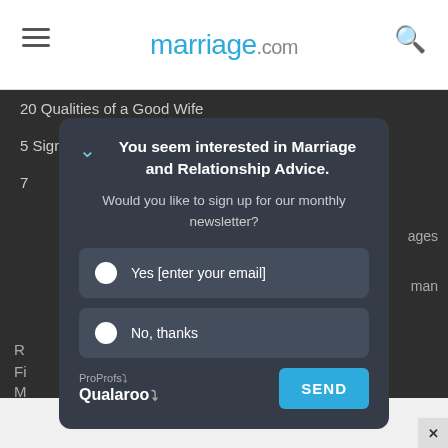marriage.com
20 Qualities of a Good Wife
5 Signs That You Are Living in a Toxic Marriage
7
10 ...ages
10 ...man
20 ...oman
R
Fi
M
[Figure (screenshot): Newsletter subscription modal popup with title 'You seem interested in Marriage and Relationship Advice.' and two radio button options: 'Yes [enter your email]' and 'No, thanks', with a SEND button and ProProfs Qualaroo branding.]